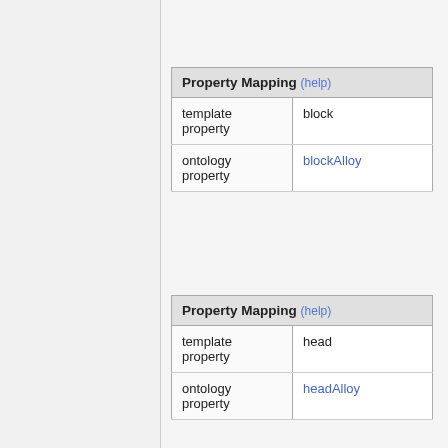| Property Mapping (help) |  |
| --- | --- |
| template property | block |
| ontology property | blockAlloy |
| Property Mapping (help) |  |
| --- | --- |
| template property | head |
| ontology property | headAlloy |